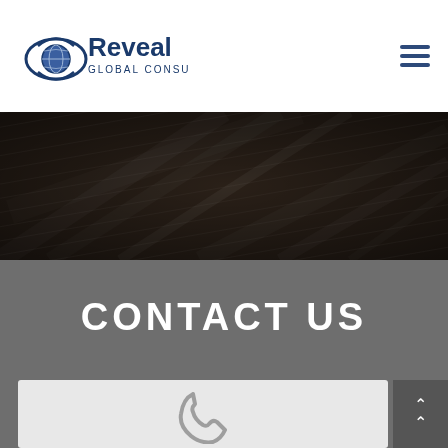[Figure (logo): Reveal Global Consulting logo — eye icon with globe inside, dark navy text 'Reveal' large, 'GLOBAL CONSULTING' smaller beneath]
[Figure (other): Dark textured background image with blurred wood/hair texture, brownish-dark tones]
CONTACT US
[Figure (other): White/light gray card with a phone handset icon partially visible at bottom, and a dark gray button with double chevron up arrows on the right side]